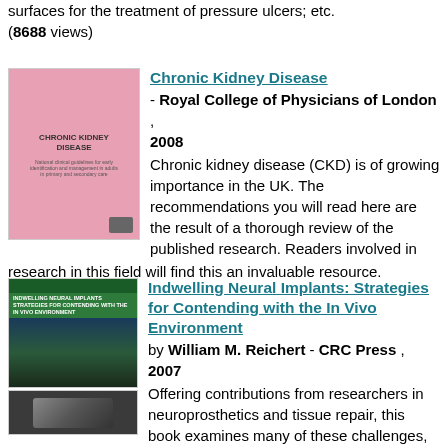surfaces for the treatment of pressure ulcers; etc. (8688 views)
[Figure (photo): Pink book cover for Chronic Kidney Disease, Royal College of Physicians of London]
Chronic Kidney Disease - Royal College of Physicians of London, 2008 Chronic kidney disease (CKD) is of growing importance in the UK. The recommendations you will read here are the result of a thorough review of the published research. Readers involved in research in this field will find this an invaluable resource. (11584 views)
[Figure (photo): Green and dark book cover for Indwelling Neural Implants: Strategies for Contending with the In Vivo Environment by William M. Reichert, CRC Press]
Indwelling Neural Implants: Strategies for Contending with the In Vivo Environment by William M. Reichert - CRC Press, 2007 Offering contributions from researchers in neuroprosthetics and tissue repair, this book examines many of these challenges, paying particular attention to how the healing of tissues surrounding an implant can impact the intended use of a device.